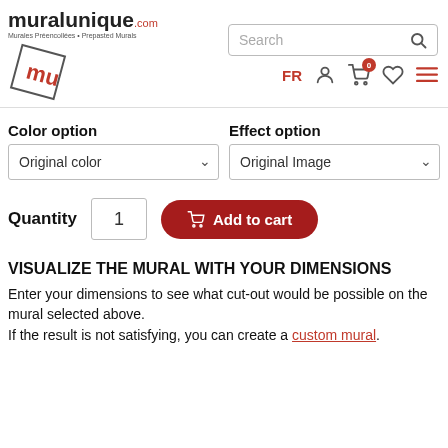muralunique.com — Murales Préencollées • Prepasted Murals
Color option
Effect option
Original color (dropdown)
Original Image (dropdown)
Quantity  1  Add to cart
VISUALIZE THE MURAL WITH YOUR DIMENSIONS
Enter your dimensions to see what cut-out would be possible on the mural selected above. If the result is not satisfying, you can create a custom mural.